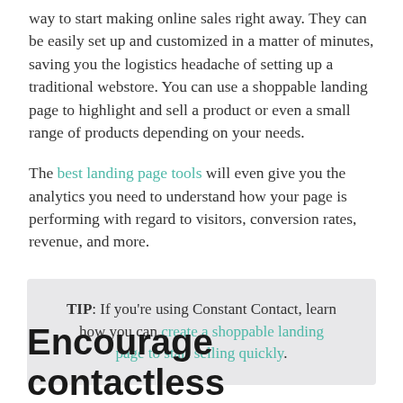way to start making online sales right away. They can be easily set up and customized in a matter of minutes, saving you the logistics headache of setting up a traditional webstore. You can use a shoppable landing page to highlight and sell a product or even a small range of products depending on your needs.
The best landing page tools will even give you the analytics you need to understand how your page is performing with regard to visitors, conversion rates, revenue, and more.
TIP: If you're using Constant Contact, learn how you can create a shoppable landing page to start selling quickly.
Encourage contactless